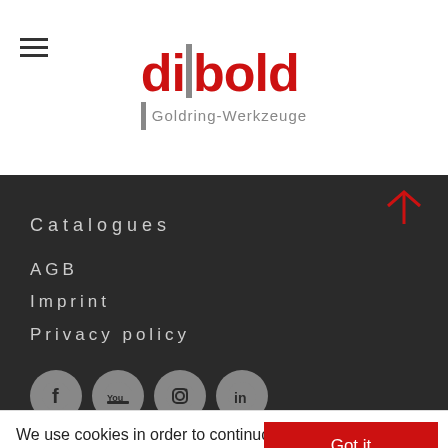[Figure (logo): Diebold Goldring-Werkzeuge logo with red bold text and gray vertical bar accent]
Catalogues
AGB
Imprint
Privacy policy
[Figure (illustration): Four social media icons: Facebook, YouTube, Instagram, LinkedIn on gray circular backgrounds]
We use cookies in order to continuously optimize and improve our website for you. By continuing to use the website, you consent to the use of cookies. Further information on cookies can be found in our
Got it